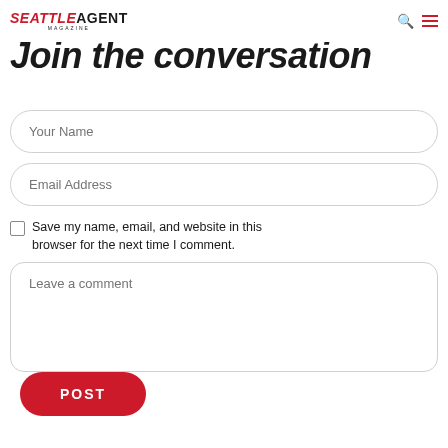SEATTLE AGENT MAGAZINE
Join the conversation
Your Name
Email Address
Save my name, email, and website in this browser for the next time I comment.
Leave a comment
POST